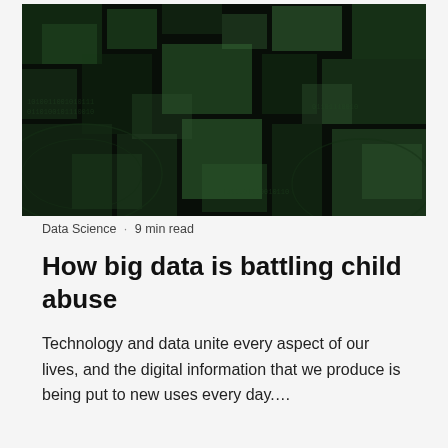[Figure (photo): Abstract dark green digital data visualization with overlapping square tile patterns, resembling a matrix or binary code background image]
Data Science · 9 min read
How big data is battling child abuse
Technology and data unite every aspect of our lives, and the digital information that we produce is being put to new uses every day….